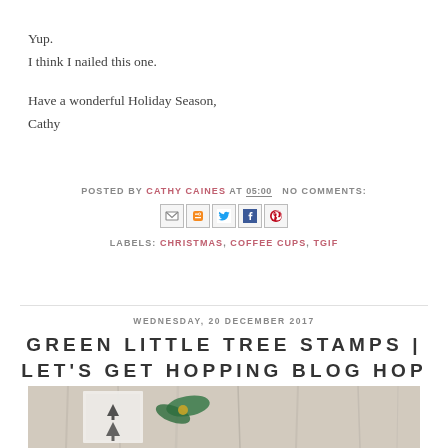Yup.
I think I nailed this one.

Have a wonderful Holiday Season,
Cathy
POSTED BY CATHY CAINES AT 05:00   NO COMMENTS:
[Figure (other): Social sharing icons: email, blogger, twitter, facebook, pinterest]
LABELS: CHRISTMAS, COFFEE CUPS, TGIF
WEDNESDAY, 20 DECEMBER 2017
GREEN LITTLE TREE STAMPS | LET'S GET HOPPING BLOG HOP
[Figure (photo): Photo of a handmade Christmas card or gift tag with tree stamps and a green ribbon bow, on a textured white/grey wood background]